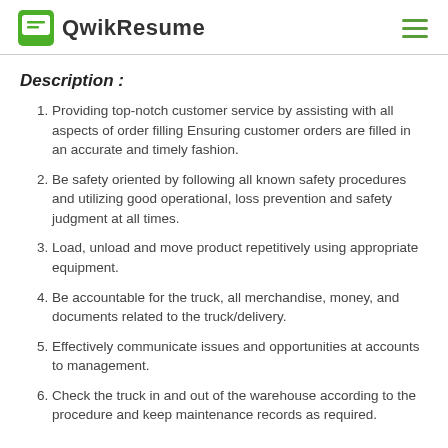QwikResume
Description :
Providing top-notch customer service by assisting with all aspects of order filling Ensuring customer orders are filled in an accurate and timely fashion.
Be safety oriented by following all known safety procedures and utilizing good operational, loss prevention and safety judgment at all times.
Load, unload and move product repetitively using appropriate equipment.
Be accountable for the truck, all merchandise, money, and documents related to the truck/delivery.
Effectively communicate issues and opportunities at accounts to management.
Check the truck in and out of the warehouse according to the procedure and keep maintenance records as required.